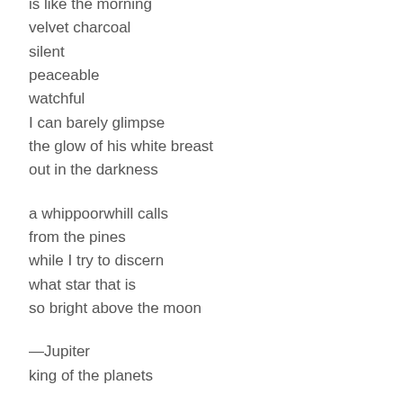is like the morning
velvet charcoal
silent
peaceable
watchful
I can barely glimpse
the glow of his white breast
out in the darkness

a whippoorwhill calls
from the pines
while I try to discern
what star that is
so bright above the moon

—Jupiter
king of the planets